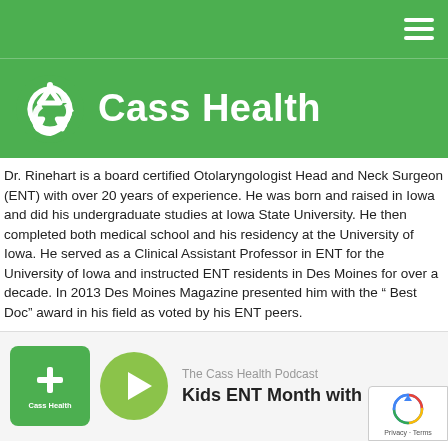Cass Health
[Figure (logo): Cass Health logo: white recycling-style arrows icon with 'Cass Health' text on green background]
Dr. Rinehart is a board certified Otolaryngologist Head and Neck Surgeon (ENT) with over 20 years of experience. He was born and raised in Iowa and did his undergraduate studies at Iowa State University. He then completed both medical school and his residency at the University of Iowa. He served as a Clinical Assistant Professor in ENT for the University of Iowa and instructed ENT residents in Des Moines for over a decade. In 2013 Des Moines Magazine presented him with the “ Best Doc” award in his field as voted by his ENT peers.
[Figure (other): Cass Health Podcast player card with green Cass Health logo box, green circular play button, subtitle 'The Cass Health Podcast', and title 'Kids ENT Month with']